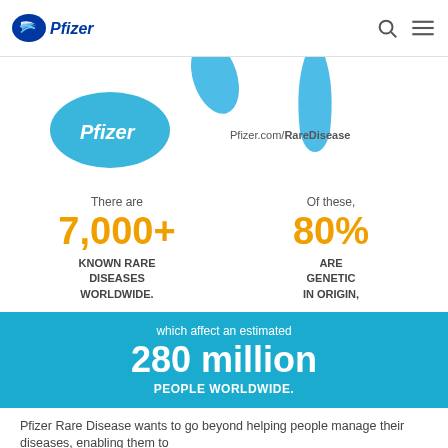Pfizer [logo] [search icon] [menu icon]
[Figure (illustration): Blue water drop shapes at top center-right, Pfizer oval logo in blue on left, Pfizer.com/RareDisease URL text on right]
There are
7,000+
KNOWN RARE DISEASES WORLDWIDE.
Of these,
80%
ARE GENETIC IN ORIGIN,
which affect an estimated 280 million PEOPLE WORLDWIDE.
Pfizer Rare Disease wants to go beyond helping people manage their diseases, enabling them to